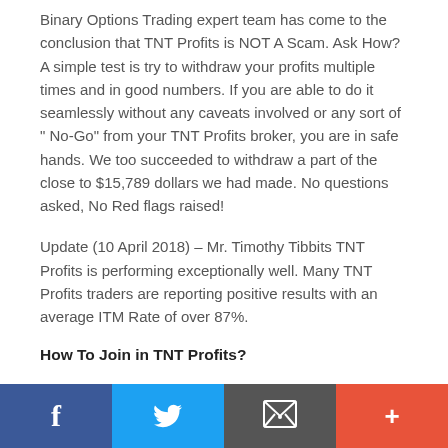Binary Options Trading expert team has come to the conclusion that TNT Profits is NOT A Scam. Ask How? A simple test is try to withdraw your profits multiple times and in good numbers. If you are able to do it seamlessly without any caveats involved or any sort of " No-Go" from your TNT Profits broker, you are in safe hands. We too succeeded to withdraw a part of the close to $15,789 dollars we had made. No questions asked, No Red flags raised!
Update (10 April 2018) – Mr. Timothy Tibbits TNT Profits is performing exceptionally well. Many TNT Profits traders are reporting positive results with an average ITM Rate of over 87%.
How To Join in TNT Profits?
TNT Profits software is available for free but to start trading, you need to fund TNT Profits broker account
Social share bar: Facebook, Twitter, Email, Plus